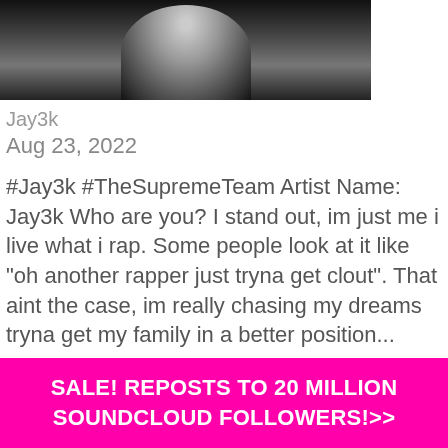[Figure (photo): Black and white photo of a person, cropped showing lower face/chest area]
Jay3k
Aug 23, 2022
#Jay3k #TheSupremeTeam Artist Name: Jay3k Who are you? I stand out, im just me i live what i rap. Some people look at it like "oh another rapper just tryna get clout". That aint the case, im really chasing my dreams tryna get my family in a better position...
[Figure (photo): Close-up photo of a dog's face, brown/tan colored dog]
SALE! REPOSTS TO 20 MILLION SOUNDCLOUD FOLLOWERS!>>